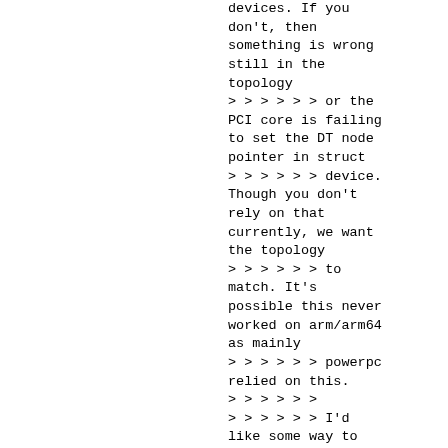devices. If you don't, then something is wrong still in the topology > > > > > > or the PCI core is failing to set the DT node pointer in struct > > > > > > device. Though you don't rely on that currently, we want the topology > > > > > > to match. It's possible this never worked on arm/arm64 as mainly > > > > > > powerpc relied on this. > > > > > > > > > > > > I'd like some way to validate the DT matches the PCI topology. We > > > > > > could have a tool that generates the DT structure based on